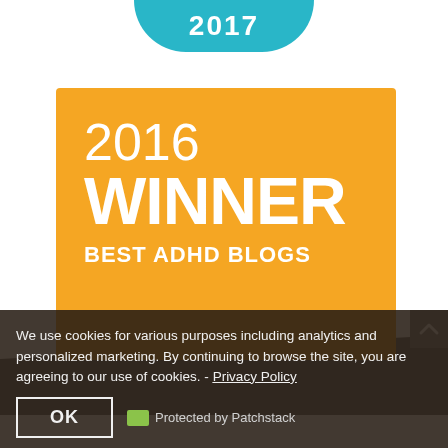[Figure (illustration): Partial teal circular badge at top showing '2017' text]
[Figure (illustration): Orange rectangular award badge reading '2016 WINNER BEST ADHD BLOGS']
We use cookies for various purposes including analytics and personalized marketing. By continuing to browse the site, you are agreeing to our use of cookies. - Privacy Policy
OK
Protected by Patchstack